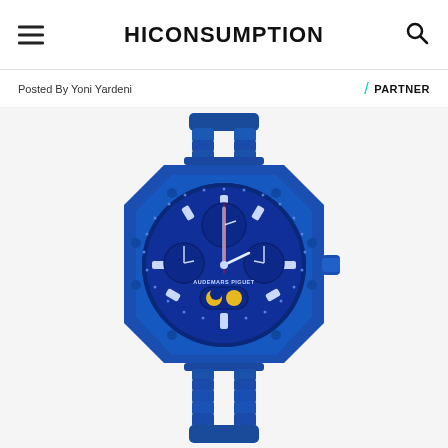HICONSUMPTION
Posted By Yoni Yardeni
/ PARTNER
[Figure (photo): Audemars Piguet Royal Oak blue ceramic perpetual calendar watch with integrated bracelet, photographed on white/light grey background. The watch is entirely blue ceramic, featuring an octagonal bezel with exposed screws, a complex blue dial with multiple subdials, moon phase complication, and a matching blue ceramic bracelet.]